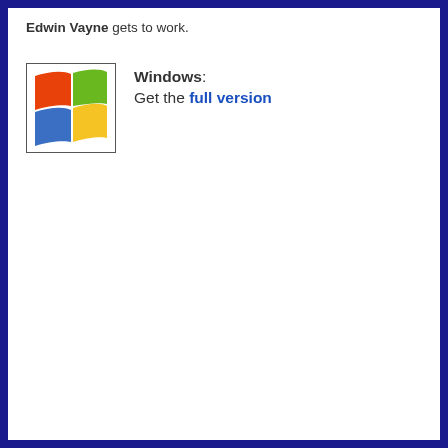Edwin Vayne gets to work.
[Figure (logo): Windows logo icon showing four colored flag-like panels: red/orange top-left, green top-right, blue bottom-left, yellow bottom-right, with a wave/flag shape]
Windows: Get the full version